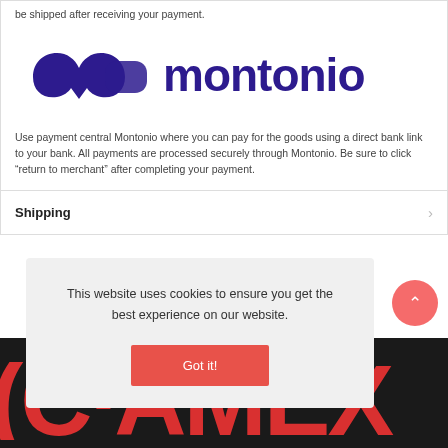be shipped after receiving your payment.
[Figure (logo): Montonio payment service logo — stylized cloud/heart mark in dark purple next to the word 'montonio' in dark purple]
Use payment central Montonio where you can pay for the goods using a direct bank link to your bank. All payments are processed securely through Montonio. Be sure to click “return to merchant” after completing your payment.
Shipping
This website uses cookies to ensure you get the best experience on our website.
Got it!
[Figure (logo): Partial CAMEX logo in bold red letters on a dark/black background, partially visible at the bottom of the page]